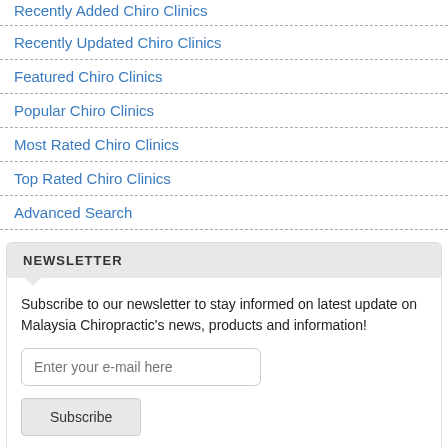Recently Added Chiro Clinics
Recently Updated Chiro Clinics
Featured Chiro Clinics
Popular Chiro Clinics
Most Rated Chiro Clinics
Top Rated Chiro Clinics
Advanced Search
NEWSLETTER
Subscribe to our newsletter to stay informed on latest update on Malaysia Chiropractic's news, products and information!
LOGIN FORM